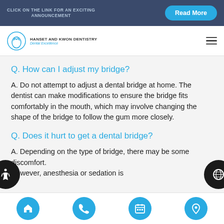CLICK ON THE LINK FOR AN EXCITING ANNOUNCEMENT | Read More
[Figure (logo): Hanset and Kwon Dentistry logo with tooth icon and tagline 'Dental Excellence']
Q. How can I adjust my bridge?
A. Do not attempt to adjust a dental bridge at home. The dentist can make modifications to ensure the bridge fits comfortably in the mouth, which may involve changing the shape of the bridge to follow the gum more closely.
Q. Does it hurt to get a dental bridge?
A. Depending on the type of bridge, there may be some discomfort. However, anesthesia or sedation is
Home | Phone | Calendar | Location navigation icons